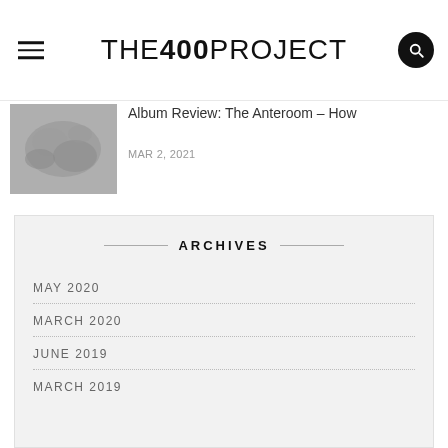THE 400 PROJECT
Album Review: The Anteroom – How
MAR 2, 2021
ARCHIVES
MAY 2020
MARCH 2020
JUNE 2019
MARCH 2019